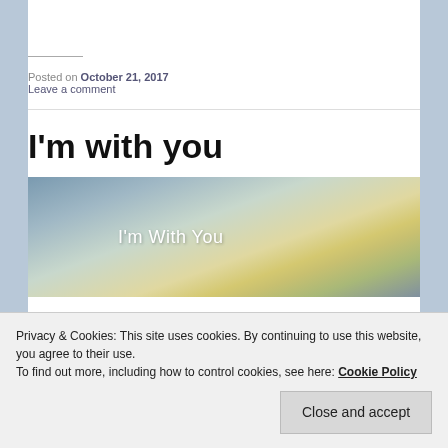Posted on October 21, 2017
Leave a comment
I'm with you
[Figure (photo): Sky photo with text overlay reading 'I'm With You']
Privacy & Cookies: This site uses cookies. By continuing to use this website, you agree to their use.
To find out more, including how to control cookies, see here: Cookie Policy
Close and accept